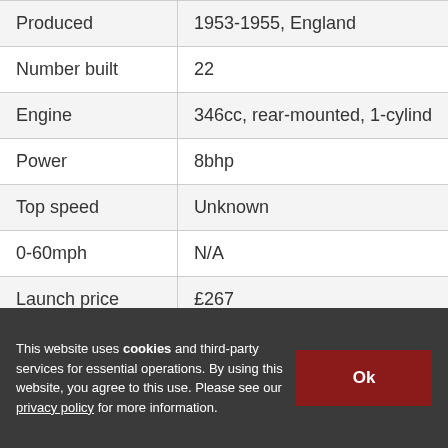| Produced | 1953-1955, England |
| Number built | 22 |
| Engine | 346cc, rear-mounted, 1-cylind |
| Power | 8bhp |
| Top speed | Unknown |
| 0-60mph | N/A |
| Launch price | £267 |
This website uses cookies and third-party services for essential operations. By using this website, you agree to this use. Please see our privacy policy for more information.